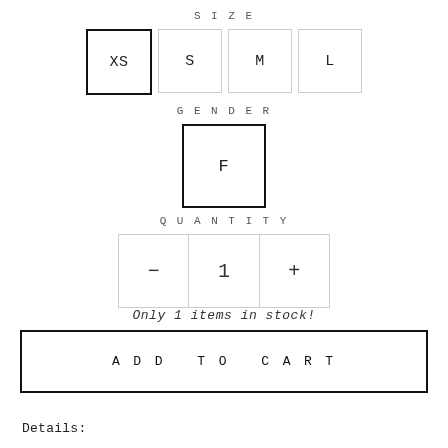SIZE
XS (selected), S, M, L
GENDER
F (selected)
QUANTITY
- 1 +
Only 1 items in stock!
ADD TO CART
Details: